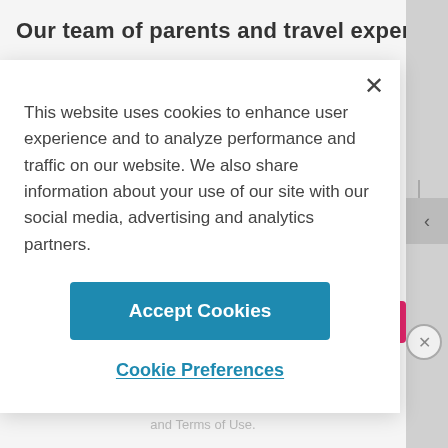Our team of parents and travel experts chooses
This website uses cookies to enhance user experience and to analyze performance and traffic on our website. We also share information about your use of our site with our social media, advertising and analytics partners.
Accept Cookies
Cookie Preferences
Sign Up
ADVERTISEMENT
By proceeding, you agree to our Privacy Policy and Terms of Use.